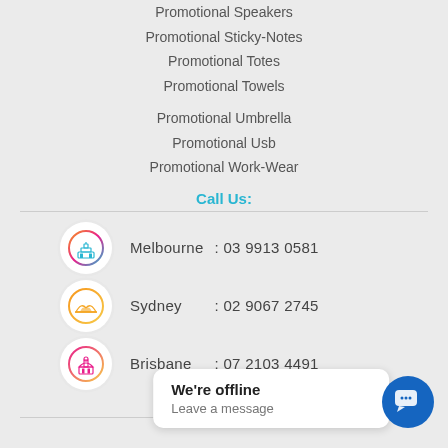Promotional Speakers
Promotional Sticky-Notes
Promotional Totes
Promotional Towels
Promotional Umbrella
Promotional Usb
Promotional Work-Wear
Call Us:
Melbourne  : 03 9913 0581
Sydney       : 02 9067 2745
Brisbane     : 07 2103 4491
Follow Us
We're offline
Leave a message